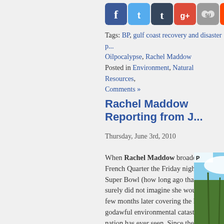[Figure (other): Social media sharing icons: Facebook, Twitter, Tumblr, Google+, unknown, Reddit, Pinterest]
Tags: BP, gulf coast recovery and disaster p... Oilpocalypse, Rachel Maddow
Posted in Environment, Natural Resources,... Comments »
Rachel Maddow Reporting from J...
Thursday, June 3rd, 2010
When Rachel Maddow broadcast from the French Quarter the Friday night before the Super Bowl (how long ago that feels!), she surely did not imagine she would be back a few months later covering the hugest godawful environmental catastrophe this nation has ever seen. Since the Earth Day Blowout Rachel has been to Venice, Louisiana, down in the Birdfoot, as has her NBC comrado Brian Williams, and...
[Figure (photo): Photo of a person standing in tall green grass/wetlands with blue sky, with TV chyron overlay showing letters T and G]